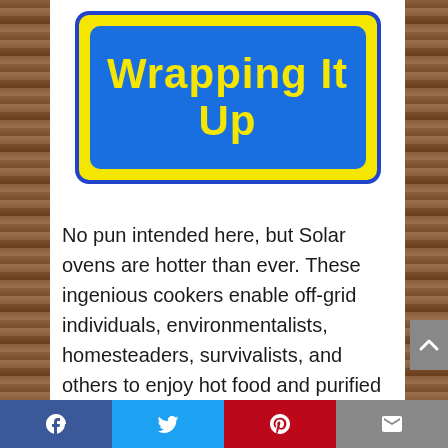[Figure (illustration): Blue rounded rectangle banner with yellow border and yellow bold text reading 'Wrapping It Up' on a blue background]
No pun intended here, but Solar ovens are hotter than ever. These ingenious cookers enable off-grid individuals, environmentalists, homesteaders, survivalists, and others to enjoy hot food and purified water without having to tap into anything other than the sun.
Organizations have even worked to promote the benefits of solar cookers for those in developing countries or rural areas.
Facebook  Twitter  Pinterest  Email